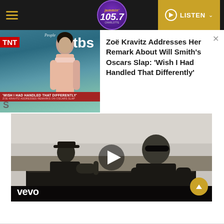Jammin' 105.7 — LISTEN
[Figure (screenshot): Thumbnail image of Zoë Kravitz at a TBS/TNT event, with red lower-third banner reading 'WISH I HAD HANDLED THAT DIFFERENTLY' and 'ZOE KRAVITZ ADDRESSES REMARKS ON OSCARS SLAP']
Zoë Kravitz Addresses Her Remark About Will Smith's Oscars Slap: 'Wish I Had Handled That Differently'
[Figure (screenshot): Black-and-white Vevo music video thumbnail showing two figures seated on a couch, with a play button overlay and 'vevo' watermark in bottom-left corner]